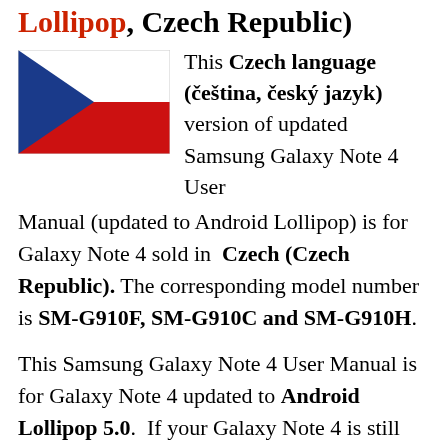Lollipop, Czech Republic)
[Figure (illustration): Czech Republic flag: white top-right triangle, red bottom-right triangle, blue left triangle wedge]
This Czech language (čeština, český jazyk) version of updated Samsung Galaxy Note 4 User Manual (updated to Android Lollipop) is for Galaxy Note 4 sold in Czech (Czech Republic). The corresponding model number is SM-G910F, SM-G910C and SM-G910H.
This Samsung Galaxy Note 4 User Manual is for Galaxy Note 4 updated to Android Lollipop 5.0. If your Galaxy Note 4 is still running Android Kitkat (4.4), please check the user manual in this page.